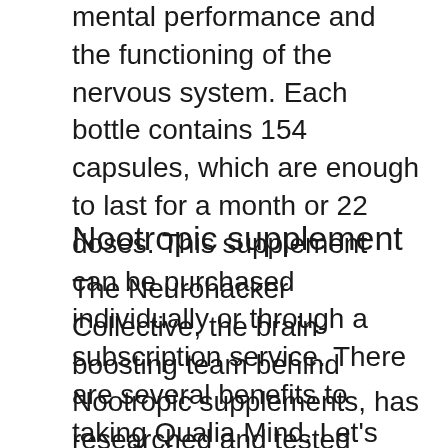mental performance and the functioning of the nervous system. Each bottle contains 154 capsules, which are enough to last for a month or 22 doses. This supplement can be purchased individually or through a subscription service. There are several benefits to taking Qualia Mind. Let's explore them further. To start, this nootropic stack has a simple, yet effective ingredient list.
Nootropic supplement
The Neurohacker Collective, the brain-boosting team behind Nootropic supplements, has researched and tested many ingredients to create Qualia Mind. Its blend of 28 ingredients was carefully chosen to ensure that the formula has synergistic effects on focus, memory, and